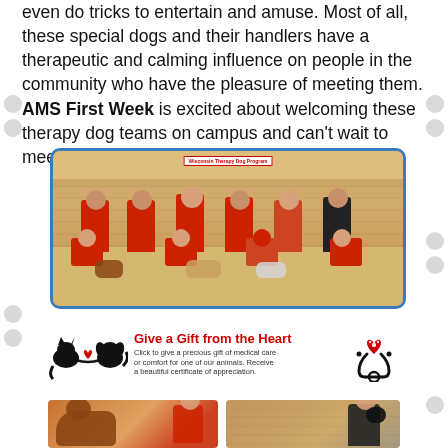even do tricks to entertain and amuse. Most of all, these special dogs and their handlers have a therapeutic and calming influence on people in the community who have the pleasure of meeting them. AMS First Week is excited about welcoming these therapy dog teams on campus and can't wait to meet them!
[Figure (photo): Group photo of therapy dog handlers in red shirts holding their dogs, posed in front of wooden slat wall backdrop]
[Figure (infographic): Give a Gift from the Heart banner with cat/dog silhouette logo on left and stethoscope heart icon on right. Text: Click to give a precious gift of medical care or comfort for one of our animals. Receive a beautiful certificate of appreciation.]
[Figure (photo): Two partial photos at bottom showing therapy dogs and handlers]